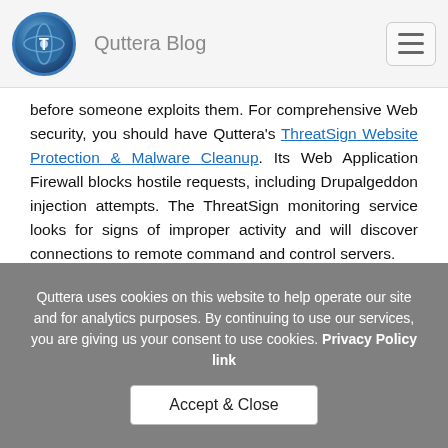Quttera Blog
before someone exploits them. For comprehensive Web security, you should have Quttera's ThreatSign Website Protection & Malware Cleanup. Its Web Application Firewall blocks hostile requests, including Drupalgeddon injection attempts. The ThreatSign monitoring service looks for signs of improper activity and will discover connections to remote command and control servers.
Every website is a target for online criminals. Quttera ThreatSign helps you to stay safe from their attacks. Multiple plans are available to suit your budget and security requirements.
Quttera uses cookies on this website to help operate our site and for analytics purposes. By continuing to use our services, you are giving us your consent to use cookies. Privacy Policy link  Accept & Close